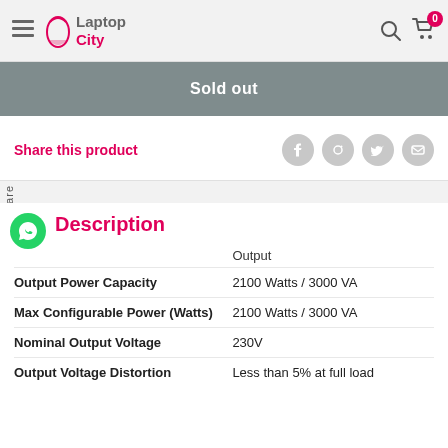Laptop City
Sold out
Share this product
Description
|  | Output |
| --- | --- |
| Output Power Capacity | 2100 Watts / 3000 VA |
| Max Configurable Power (Watts) | 2100 Watts / 3000 VA |
| Nominal Output Voltage | 230V |
| Output Voltage Distortion | Less than 5% at full load |